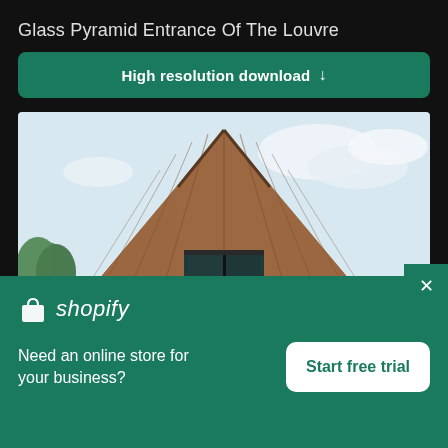Glass Pyramid Entrance Of The Louvre
High resolution download ↓
[Figure (photo): Photo of a triangular wooden barn-style building with vertical wood planks, a dark rectangular window in the center, and a blue sky with clouds in the background. A green tree is visible on the left side.]
[Figure (logo): Shopify logo — shopping bag icon and italic 'shopify' text in white on green background]
Need an online store for your business?
Start free trial